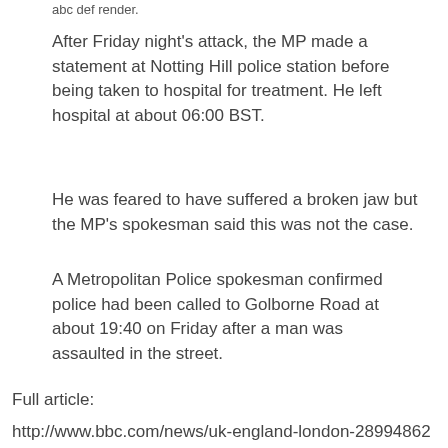After Friday night's attack, the MP made a statement at Notting Hill police station before being taken to hospital for treatment. He left hospital at about 06:00 BST.
He was feared to have suffered a broken jaw but the MP's spokesman said this was not the case.
A Metropolitan Police spokesman confirmed police had been called to Golborne Road at about 19:40 on Friday after a man was assaulted in the street.
Full article:
http://www.bbc.com/news/uk-england-london-28994862
Also see:
Riccardo Pacifici, beloved of recent popes, led violent attack